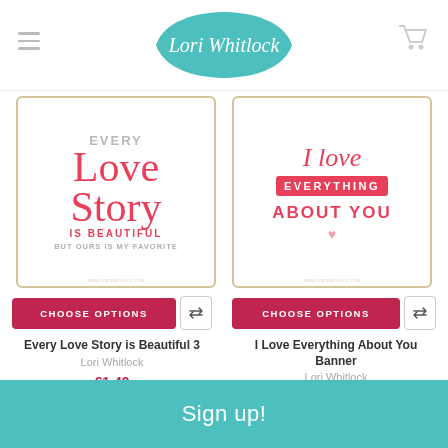Lori Whitlock
[Figure (illustration): Product card showing 'Every Love Story is Beautiful 3' typography design in pink and grey on white background with gold border]
[Figure (illustration): Product card showing 'I Love Everything About You Banner' typography design in pink on white background with gold border]
CHOOSE OPTIONS
CHOOSE OPTIONS
Every Love Story is Beautiful 3
Lori Whitlock
€1.49
I Love Everything About You Banner
Lori Whitlock
€1.49
[Figure (photo): Product packaging for Heart Swirly Flourish digital cutting file]
[Figure (photo): Product packaging for Heart Cluster digital cutting file]
Sign up!